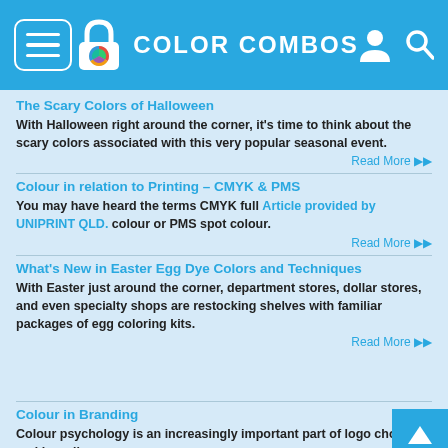COLOR COMBOS
The Scary Colors of Halloween
With Halloween right around the corner, it's time to think about the scary colors associated with this very popular seasonal event.
Read More ▶▶
Colour in relation to Printing – CMYK & PMS
You may have heard the terms CMYK full colour or PMS spot colour.  Article provided by UNIPRINT QLD.
Read More ▶▶
What's New in Easter Egg Dye Colors and Techniques
With Easter just around the corner, department stores, dollar stores, and even specialty shops are restocking shelves with familiar packages of egg coloring kits.
Read More ▶▶
Colour in Branding
Colour psychology is an increasingly important part of logo choice and branding